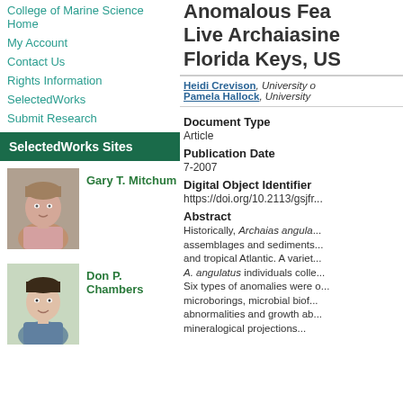College of Marine Science Home
My Account
Contact Us
Rights Information
SelectedWorks
Submit Research
SelectedWorks Sites
[Figure (photo): Photo of Gary T. Mitchum]
Gary T. Mitchum
[Figure (photo): Photo of Don P. Chambers]
Don P. Chambers
Anomalous Fea... Live Archaiasine... Florida Keys, US...
Heidi Crevison, University of... Pamela Hallock, University...
Document Type
Article
Publication Date
7-2007
Digital Object Identifier
https://doi.org/10.2113/gsjfr...
Abstract
Historically, Archaias angula... assemblages and sediments... and tropical Atlantic. A variet... A. angulatus individuals colle... Six types of anomalies were o... microborings, microbial biof... abnormalities and growth ab... mineralogical projections...